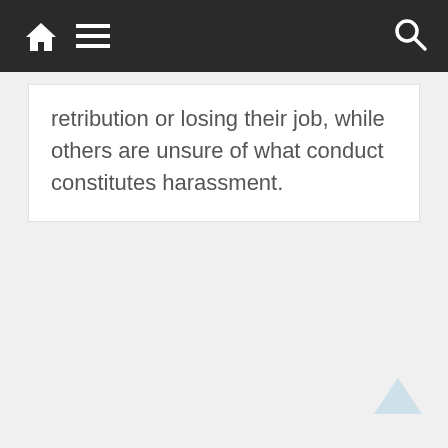Navigation bar with home, menu, and search icons
retribution or losing their job, while others are unsure of what conduct constitutes harassment.